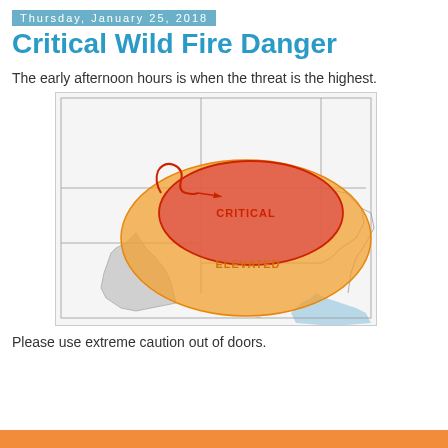Thursday, January 25, 2018
Critical Wild Fire Danger
The early afternoon hours is when the threat is the highest.
[Figure (map): Weather map showing wildfire danger zones over the south-central United States (parts of Texas, Oklahoma, Kansas, and surrounding states). A large orange area labeled ELEVATED covers the broader region. A red area labeled CRITICAL is centered over western Oklahoma/Texas panhandle area. A red arrow indicates wind direction. State boundary lines are shown in gray.]
Please use extreme caution out of doors.